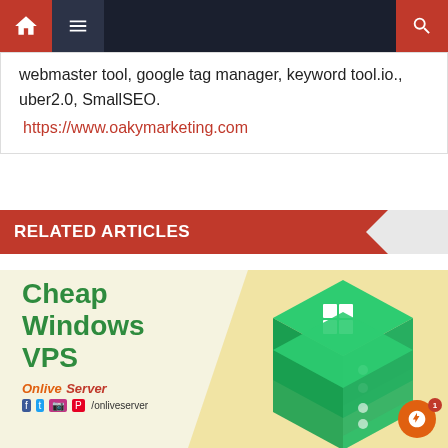Navigation bar with home, menu, and search icons
webmaster tool, google tag manager, keyword tool.io., uber2.0, SmallSEO.
https://www.oakymarketing.com
RELATED ARTICLES
[Figure (illustration): Cheap Windows VPS promotional banner with green 3D server box graphic and Onlive Server branding]